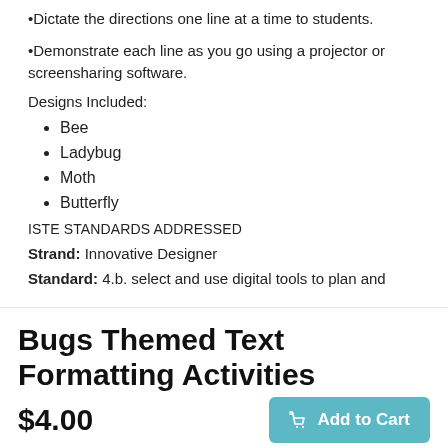•Dictate the directions one line at a time to students.
•Demonstrate each line as you go using a projector or screensharing software.
Designs Included:
Bee
Ladybug
Moth
Butterfly
ISTE STANDARDS ADDRESSED
Strand: Innovative Designer
Standard: 4.b. select and use digital tools to plan and
Bugs Themed Text Formatting Activities
$4.00
Add to Cart